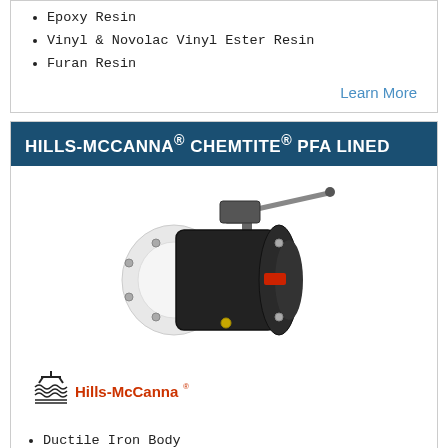Epoxy Resin
Vinyl & Novolac Vinyl Ester Resin
Furan Resin
Learn More
HILLS-MCCANNA® CHEMTITE® PFA LINED
[Figure (photo): Black flanged PFA lined ball valve with lever handle, Hills-McCanna Chemtite product]
[Figure (logo): Hills-McCanna brand logo with valve icon and orange text]
Ductile Iron Body
Heavy Duty PFA Lining
Ideally Suited For: